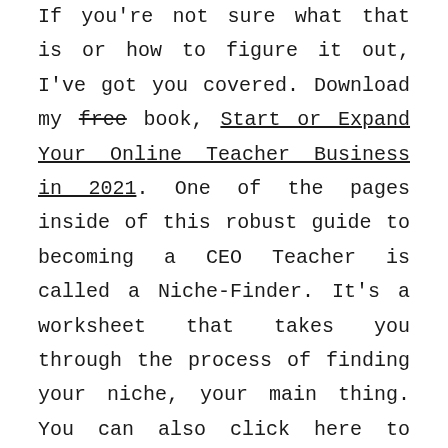If you're not sure what that is or how to figure it out, I've got you covered. Download my free book, Start or Expand Your Online Teacher Business in 2021. One of the pages inside of this robust guide to becoming a CEO Teacher is called a Niche-Finder. It's a worksheet that takes you through the process of finding your niche, your main thing. You can also click here to listen to The CEO Teacher Podcast episode on Finding Your Niche.
Once you've found your main thing, think about what your pillar content will be. Again, this book will help you figure this out too. But